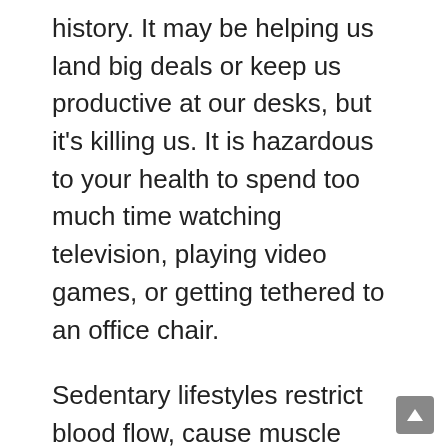history. It may be helping us land big deals or keep us productive at our desks, but it's killing us. It is hazardous to your health to spend too much time watching television, playing video games, or getting tethered to an office chair.
Sedentary lifestyles restrict blood flow, cause muscle atrophy, cause depression, and increase the risk of heart disease and cancer, among other life-threatening conditions.
It's fortunate that you don't have to give up the joystick altogether for this option. When it comes to making healthier choices, making small, manageable changes is key. Make it a habit to